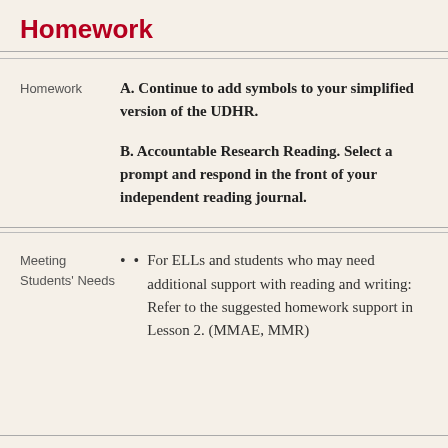Homework
Homework
A. Continue to add symbols to your simplified version of the UDHR.
B. Accountable Research Reading. Select a prompt and respond in the front of your independent reading journal.
Meeting Students' Needs
For ELLs and students who may need additional support with reading and writing: Refer to the suggested homework support in Lesson 2. (MMAE, MMR)